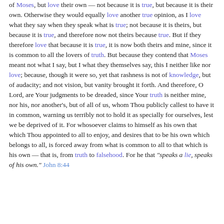of Moses, but love their own — not because it is true, but because it is their own. Otherwise they would equally love another true opinion, as I love what they say when they speak what is true; not because it is theirs, but because it is true, and therefore now not theirs because true. But if they therefore love that because it is true, it is now both theirs and mine, since it is common to all the lovers of truth. But because they contend that Moses meant not what I say, but I what they themselves say, this I neither like nor love; because, though it were so, yet that rashness is not of knowledge, but of audacity; and not vision, but vanity brought it forth. And therefore, O Lord, are Your judgments to be dreaded, since Your truth is neither mine, nor his, nor another's, but of all of us, whom Thou publicly callest to have it in common, warning us terribly not to hold it as specially for ourselves, lest we be deprived of it. For whosoever claims to himself as his own that which Thou appointed to all to enjoy, and desires that to be his own which belongs to all, is forced away from what is common to all to that which is his own — that is, from truth to falsehood. For he that "speaks a lie, speaks of his own." John 8:44